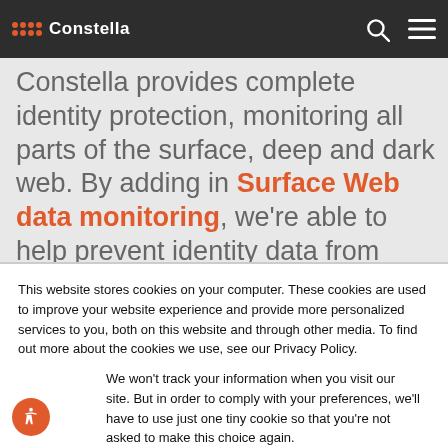Constella
Constella provides complete identity protection, monitoring all parts of the surface, deep and dark web. By adding in Surface Web data monitoring, we're able to help prevent identity data from falling into the wrong hands in all locations of the web, building in comprehensive protection and privacy for consumers. We are also able to help protect users' identities and ensure privacy when data is publicly
This website stores cookies on your computer. These cookies are used to improve your website experience and provide more personalized services to you, both on this website and through other media. To find out more about the cookies we use, see our Privacy Policy.
We won't track your information when you visit our site. But in order to comply with your preferences, we'll have to use just one tiny cookie so that you're not asked to make this choice again.